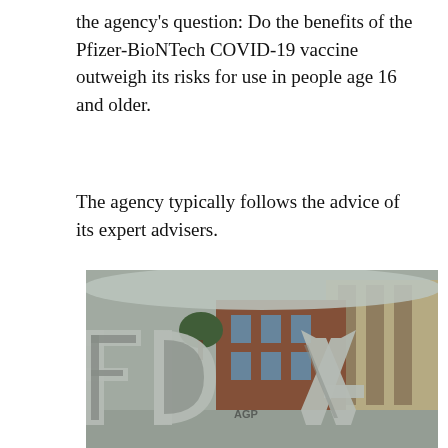the agency's question: Do the benefits of the Pfizer-BioNTech COVID-19 vaccine outweigh its risks for use in people age 16 and older.
The agency typically follows the advice of its expert advisers.
[Figure (photo): Photograph showing the FDA logo letters in large 3D frosted glass lettering in the foreground, with a brick and stone building visible in the background. An AGP watermark is visible on the image.]